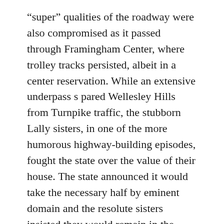“super” qualities of the roadway were also compromised as it passed through Framingham Center, where trolley tracks persisted, albeit in a center reservation. While an extensive underpass s pared Wellesley Hills from Turnpike traffic, the stubborn Lally sisters, in one of the more humorous highway-building episodes, fought the state over the value of their house. The state announced it would take the necessary half by eminent domain and the resolute sisters insisted they would remain in the surviving half. More densely settled Brookline rejected the state’s plan of underpasses and overpasses and choose instead a narrower roadway with a novel system of synchronized stop lights—traffic signals were still rare, particularly outside the city center